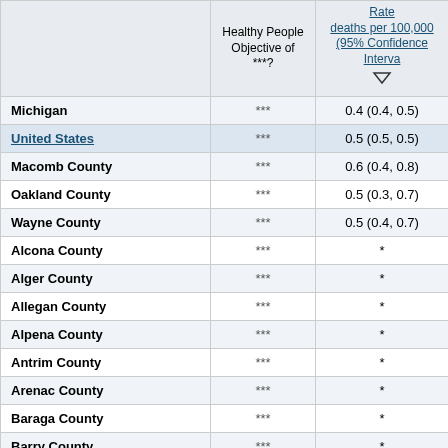|  | Healthy People Objective of ***? | Rate deaths per 100,000 (95% Confidence Interval) |
| --- | --- | --- |
| Michigan | *** | 0.4 (0.4, 0.5) |
| United States | *** | 0.5 (0.5, 0.5) |
| Macomb County | *** | 0.6 (0.4, 0.8) |
| Oakland County | *** | 0.5 (0.3, 0.7) |
| Wayne County | *** | 0.5 (0.4, 0.7) |
| Alcona County | *** | * |
| Alger County | *** | * |
| Allegan County | *** | * |
| Alpena County | *** | * |
| Antrim County | *** | * |
| Arenac County | *** | * |
| Baraga County | *** | * |
| Barry County | *** | * |
| Bay County | *** | * |